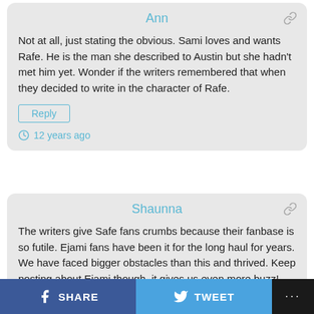Ann
Not at all, just stating the obvious. Sami loves and wants Rafe. He is the man she described to Austin but she hadn't met him yet. Wonder if the writers remembered that when they decided to write in the character of Rafe.
Reply
12 years ago
Shaunna
The writers give Safe fans crumbs because their fanbase is so futile. Ejami fans have been it for the long haul for years. We have faced bigger obstacles than this and thrived. Keep posting about Ejami though, it gives us even more buzz!
Reply
SHARE  TWEET  ...